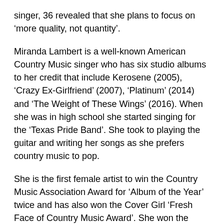singer, 36 revealed that she plans to focus on ‘more quality, not quantity’.
Miranda Lambert is a well-known American Country Music singer who has six studio albums to her credit that include Kerosene (2005), ‘Crazy Ex-Girlfriend’ (2007), ‘Platinum’ (2014) and ‘The Weight of These Wings’ (2016). When she was in high school she started singing for the ‘Texas Pride Band’. She took to playing the guitar and writing her songs as she prefers country music to pop.
She is the first female artist to win the Country Music Association Award for ‘Album of the Year’ twice and has also won the Cover Girl ‘Fresh Face of Country Music Award’. She won the ACM Award for consecutively 8 years under the category of Female Vocalist of the Year. She has endorsed products like ‘Cotton Inc and appeared in a couple of television